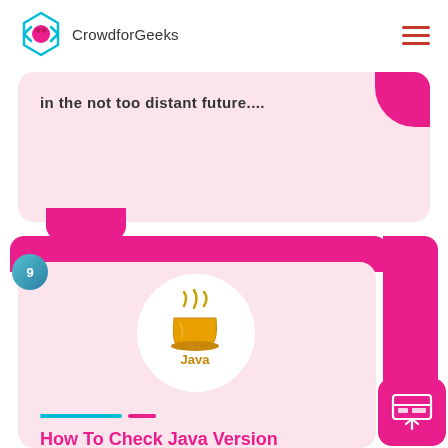[Figure (logo): CrowdforGeeks logo with teal diamond arrow icon and pink bear mascot, text 'CrowdforGeeks']
in the not too distant future....
[Figure (logo): Java programming language logo — golden coffee cup with steam, word 'Java' in gold]
How To Check Java Version
Java